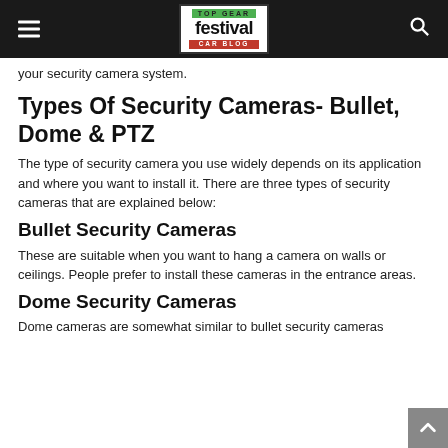TOP GEAR festival Car blog
your security camera system.
Types Of Security Cameras- Bullet, Dome & PTZ
The type of security camera you use widely depends on its application and where you want to install it. There are three types of security cameras that are explained below:
Bullet Security Cameras
These are suitable when you want to hang a camera on walls or ceilings. People prefer to install these cameras in the entrance areas.
Dome Security Cameras
Dome cameras are somewhat similar to bullet security cameras